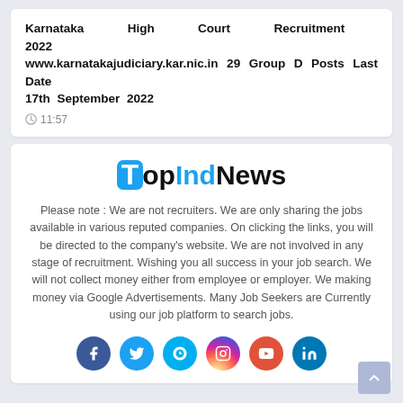Karnataka High Court Recruitment 2022 www.karnatakajudiciary.kar.nic.in 29 Group D Posts Last Date 17th September 2022
11:57
[Figure (logo): TopIndNews logo with blue rounded T box and blue 'Ind' text]
Please note : We are not recruiters. We are only sharing the jobs available in various reputed companies. On clicking the links, you will be directed to the company's website. We are not involved in any stage of recruitment. Wishing you all success in your job search. We will not collect money either from employee or employer. We making money via Google Advertisements. Many Job Seekers are Currently using our job platform to search jobs.
[Figure (infographic): Social media icons row: Facebook, Twitter, Skype, Instagram, YouTube, LinkedIn]